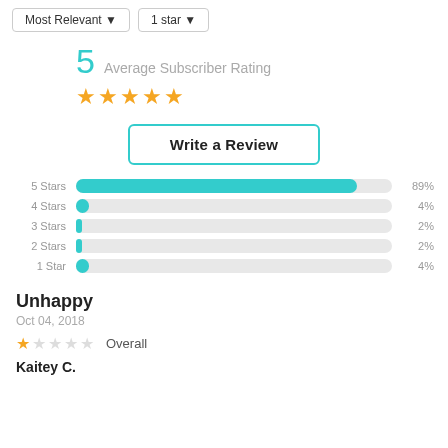[Figure (screenshot): Filter dropdowns: Most Relevant and 1 star]
5 Average Subscriber Rating
[Figure (infographic): 5 filled gold stars representing average rating]
[Figure (bar-chart): Star rating distribution]
Unhappy
Oct 04, 2018
Overall
Kaitey C.